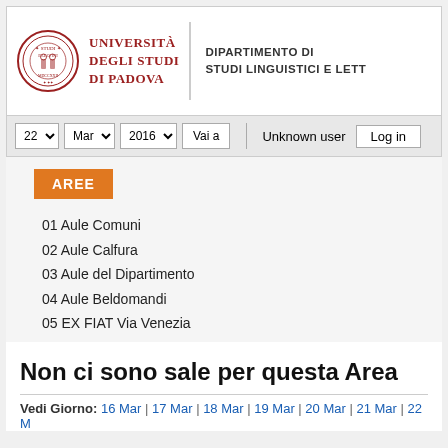[Figure (logo): Università degli Studi di Padova seal/logo with red text name]
DIPARTIMENTO DI STUDI LINGUISTICI E LETT...
22 ▾  Mar ▾  2016 ▾  Vai a   Unknown user  Log in
AREE
01 Aule Comuni
02 Aule Calfura
03 Aule del Dipartimento
04 Aule Beldomandi
05 EX FIAT Via Venezia
Non ci sono sale per questa Area
Vedi Giorno: 16 Mar | 17 Mar | 18 Mar | 19 Mar | 20 Mar | 21 Mar | 22 M...